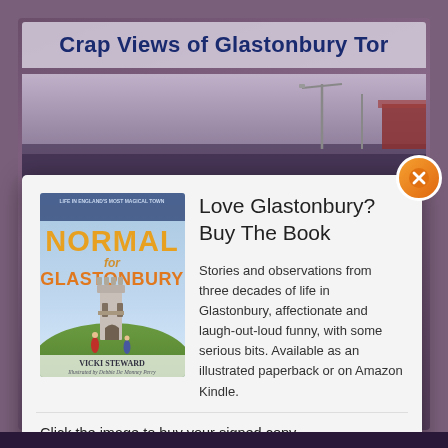Crap Views of Glastonbury Tor
[Figure (screenshot): Background showing a blurred outdoor photo with light poles against a sky, behind a popup modal]
[Figure (illustration): Book cover for 'Normal for Glastonbury' by Vicki Steward, illustrated by Debbie De Monney Perry. Shows a watercolour illustration of Glastonbury Tor tower with figures at the base, orange bold title text on blue/sky background.]
Love Glastonbury?
Buy The Book
Stories and observations from three decades of life in Glastonbury, affectionate and laugh-out-loud funny, with some serious bits. Available as an illustrated paperback or on Amazon Kindle.
Click the image to buy your signed copy